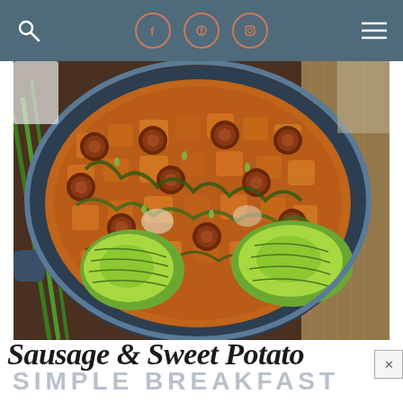Navigation bar with search icon, social media icons (Facebook, Pinterest, Instagram), and hamburger menu
[Figure (photo): Overhead view of a blue cast iron skillet filled with sausage slices, cubed sweet potatoes, wilted spinach, and green onions, garnished with two sliced avocado halves on either side. Green onion stalks and burlap visible in background.]
Sausage & Sweet Potato
SIMPLE BREAKFAST